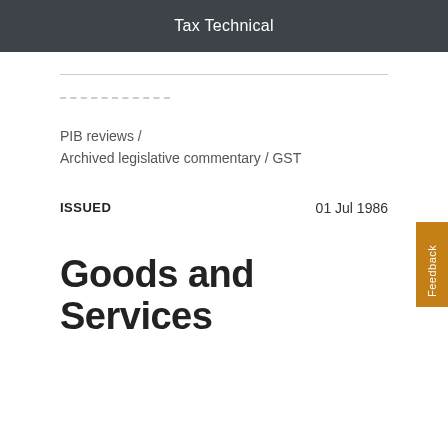Tax Technical
PIB reviews  /  Archived legislative commentary  / GST
ISSUED   01 Jul 1986
Goods and Services